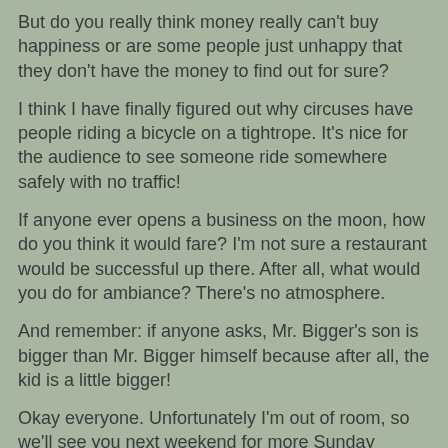But do you really think money really can't buy happiness or are some people just unhappy that they don't have the money to find out for sure?
I think I have finally figured out why circuses have people riding a bicycle on a tightrope. It's nice for the audience to see someone ride somewhere safely with no traffic!
If anyone ever opens a business on the moon, how do you think it would fare? I'm not sure a restaurant would be successful up there. After all, what would you do for ambiance? There's no atmosphere.
And remember: if anyone asks, Mr. Bigger's son is bigger than Mr. Bigger himself because after all, the kid is a little bigger!
Okay everyone. Unfortunately I'm out of room, so we'll see you next weekend for more Sunday Funnies!
wd.
Lee Houston, Junior at 10:43 PM    No comments: